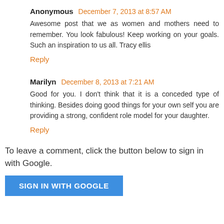Anonymous December 7, 2013 at 8:57 AM
Awesome post that we as women and mothers need to remember. You look fabulous! Keep working on your goals. Such an inspiration to us all. Tracy ellis
Reply
Marilyn December 8, 2013 at 7:21 AM
Good for you. I don't think that it is a conceded type of thinking. Besides doing good things for your own self you are providing a strong, confident role model for your daughter.
Reply
To leave a comment, click the button below to sign in with Google.
SIGN IN WITH GOOGLE